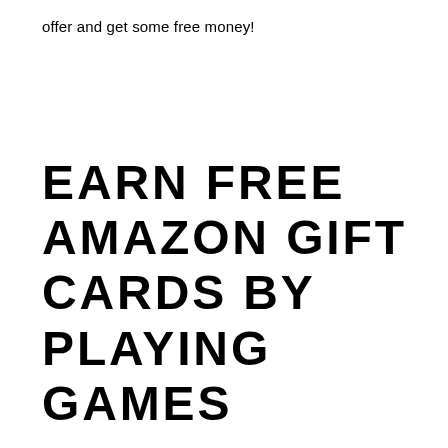offer and get some free money!
EARN FREE AMAZON GIFT CARDS BY PLAYING GAMES